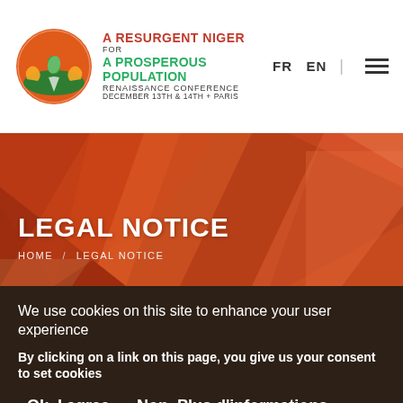[Figure (logo): A Resurgent Niger for A Prosperous Population Renaissance Conference logo — orange circle with plant and hands, December 13th & 14th, Paris]
A RESURGENT NIGER FOR A PROSPEROUS POPULATION RENAISSANCE CONFERENCE DECEMBER 13TH & 14TH + PARIS | FR EN
LEGAL NOTICE
HOME / LEGAL NOTICE
We use cookies on this site to enhance your user experience
By clicking on a link on this page, you give us your consent to set cookies
Ok, I agree   Non, Plus d'informations